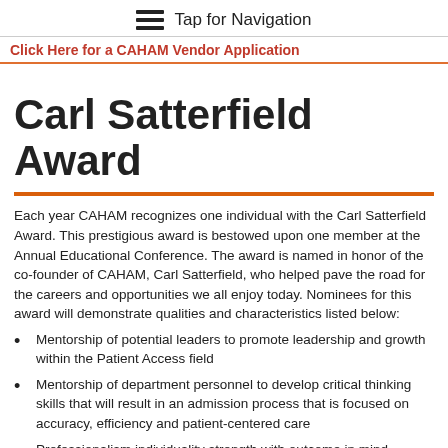Tap for Navigation
Click Here for a CAHAM Vendor Application
Carl Satterfield Award
Each year CAHAM recognizes one individual with the Carl Satterfield Award. This prestigious award is bestowed upon one member at the Annual Educational Conference. The award is named in honor of the co-founder of CAHAM, Carl Satterfield, who helped pave the road for the careers and opportunities we all enjoy today. Nominees for this award will demonstrate qualities and characteristics listed below:
Mentorship of potential leaders to promote leadership and growth within the Patient Access field
Mentorship of department personnel to develop critical thinking skills that will result in an admission process that is focused on accuracy, efficiency and patient-centered care
Professionalism individuality strength with outcome in mind